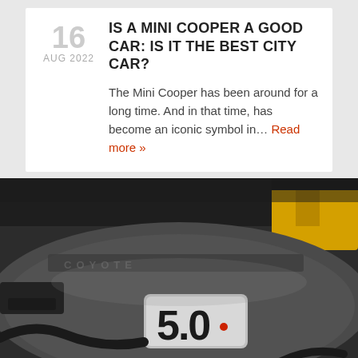16 AUG 2022
IS A MINI COOPER A GOOD CAR: IS IT THE BEST CITY CAR?
The Mini Cooper has been around for a long time. And in that time, has become an iconic symbol in… Read more »
[Figure (photo): Close-up photo of a Ford Mustang 5.0 Coyote engine bay, showing the engine cover with '5.0' badge in silver and red, with yellow components visible in the background.]